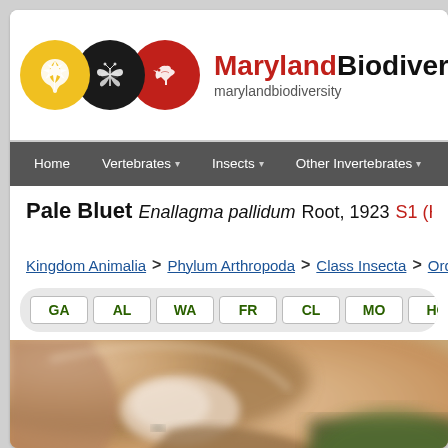[Figure (logo): Maryland Biodiversity Project logo with three overlapping circles (yellow with leaf, black with butterfly, red with bird) and the text Maryland Biodiversity Project and marylandbiodiversity URL]
Home   Vertebrates ▾   Insects ▾   Other Invertebrates ▾   Pla
Pale Bluet  Enallagma pallidum Root, 1923   S1 (Highly state rare)  -  O
Kingdom Animalia > Phylum Arthropoda > Class Insecta > Order Odon
GA   AL   WA   FR   CL   MO   HO   BA   BC
[Figure (photo): Close-up macro photograph of what appears to be a small insect (bluet damselfly) being held, with blurred green background]